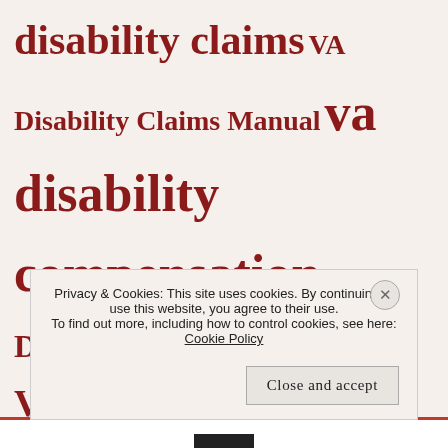disability claims VA Disability Claims Manual va disability compensation VA Disability Guide VA Ebook VA Education Benefits VA Education Benefits Appeal VA Examiner Validity of a debt valve prolapse VA Manual va rating VA Pension Guide VA
Privacy & Cookies: This site uses cookies. By continuing to use this website, you agree to their use. To find out more, including how to control cookies, see here: Cookie Policy
Close and accept